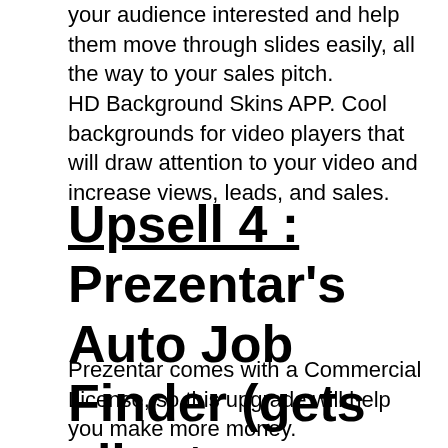your audience interested and help them move through slides easily, all the way to your sales pitch.
HD Background Skins APP. Cool backgrounds for video players that will draw attention to your video and increase views, leads, and sales.
Upsell 4 : Prezentar's Auto Job Finder (gets clients instantly)
Prezentar comes with a Commercial License, so this upgrade will help you make more money.
Prezentar's Auto Job Locator is a must-have if you plan to use Prezentar to make money.